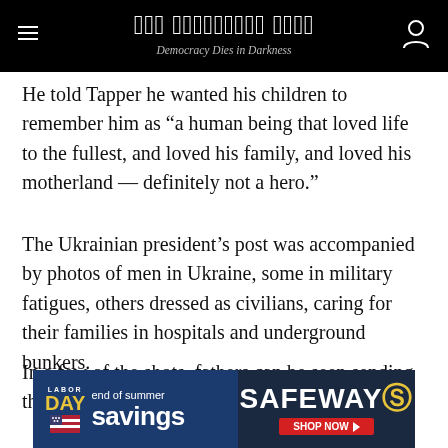The Washington Post — Democracy Dies in Darkness
He told Tapper he wanted his children to remember him as “a human being that loved life to the fullest, and loved his family, and loved his motherland — definitely not a hero.”
The Ukrainian president’s post was accompanied by photos of men in Ukraine, some in military fatigues, others dressed as civilians, caring for their families in hospitals and underground bunkers.
In a few of the shots, fathers can be seen sending their children away on trains as they stay behind.
[Figure (other): Safeway Labor Day end of summer savings advertisement banner]